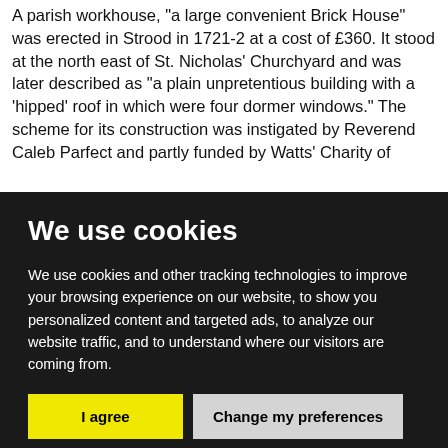A parish workhouse, "a large convenient Brick House" was erected in Strood in 1721-2 at a cost of £360. It stood at the north east of St. Nicholas' Churchyard and was later described as "a plain unpretentious building with a 'hipped' roof in which were four dormer windows." The scheme for its construction was instigated by Reverend Caleb Parfect and partly funded by Watts' Charity of
We use cookies
We use cookies and other tracking technologies to improve your browsing experience on our website, to show you personalized content and targeted ads, to analyze our website traffic, and to understand where our visitors are coming from.
I agree
Change my preferences